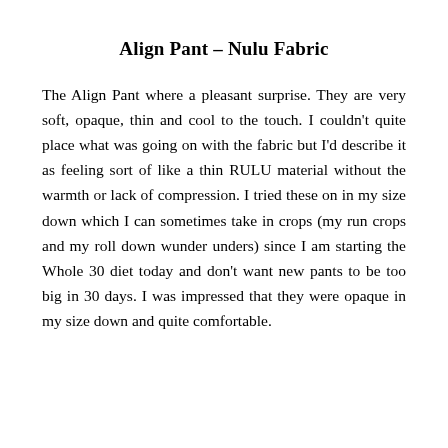Align Pant – Nulu Fabric
The Align Pant where a pleasant surprise. They are very soft, opaque, thin and cool to the touch. I couldn't quite place what was going on with the fabric but I'd describe it as feeling sort of like a thin RULU material without the warmth or lack of compression. I tried these on in my size down which I can sometimes take in crops (my run crops and my roll down wunder unders) since I am starting the Whole 30 diet today and don't want new pants to be too big in 30 days. I was impressed that they were opaque in my size down and quite comfortable.